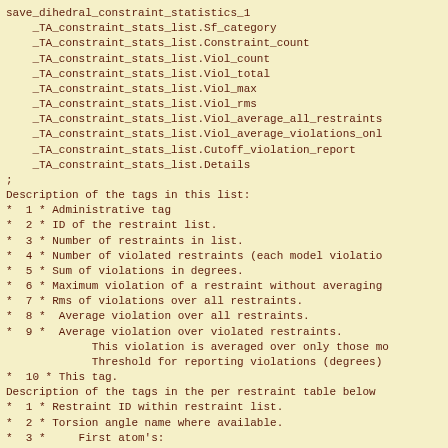save_dihedral_constraint_statistics_1
    _TA_constraint_stats_list.Sf_category
    _TA_constraint_stats_list.Constraint_count
    _TA_constraint_stats_list.Viol_count
    _TA_constraint_stats_list.Viol_total
    _TA_constraint_stats_list.Viol_max
    _TA_constraint_stats_list.Viol_rms
    _TA_constraint_stats_list.Viol_average_all_restraints
    _TA_constraint_stats_list.Viol_average_violations_only
    _TA_constraint_stats_list.Cutoff_violation_report
    _TA_constraint_stats_list.Details
;
Description of the tags in this list:
*  1 * Administrative tag
*  2 * ID of the restraint list.
*  3 * Number of restraints in list.
*  4 * Number of violated restraints (each model violatio
*  5 * Sum of violations in degrees.
*  6 * Maximum violation of a restraint without averaging
*  7 * Rms of violations over all restraints.
*  8 *  Average violation over all restraints.
*  9 *  Average violation over violated restraints.
             This violation is averaged over only those mo
             Threshold for reporting violations (degrees)
*  10 * This tag.

Description of the tags in the per restraint table below
*  1 * Restraint ID within restraint list.
*  2 * Torsion angle name where available.
*  3 *     First atom's:
1 * Administrative tag
2 * ID of the restraint list.
3 * Number of restraints in list.
4 * Number of violated restraints (each model violatio
5 * Sum of violations in degrees.
6 * Maximum violation of a restraint without averaging
7 * Rms of violations over all restraints.
8 *  Average violation over all restraints.
9 *  Average violation over violated restraints.
10 * This tag.
1 * Restraint ID within restraint list.
2 * Torsion angle name where available.
3 *     First atom's: